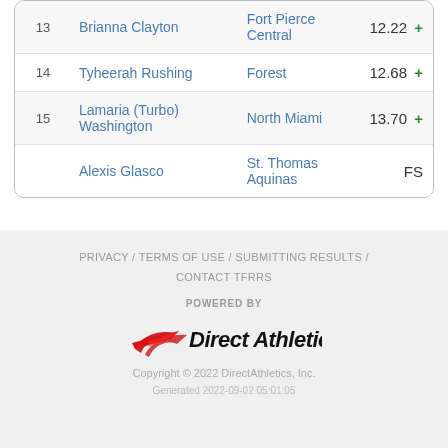| # | Name | School | Result |
| --- | --- | --- | --- |
| 13 | Brianna Clayton | Fort Pierce Central | 12.22 + |
| 14 | Tyheerah Rushing | Forest | 12.68 + |
| 15 | Lamaria (Turbo) Washington | North Miami | 13.70 + |
|  | Alexis Glasco | St. Thomas Aquinas | FS |
PRIVACY / TERMS OF USE / SUBMITTING RESULTS / CONTACT TFRRS
POWERED BY Direct Athletics
Copyright © 2022 DirectAthletics, Inc.
Generated 2022-09-02 05:01:05